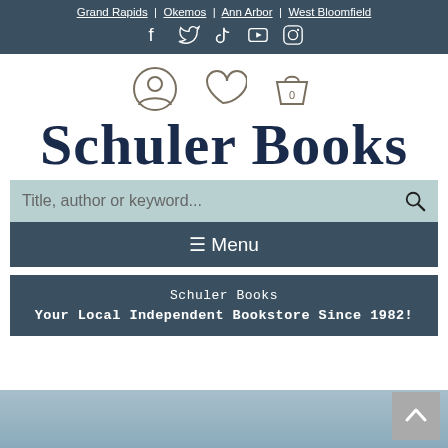Grand Rapids | Okemos | Ann Arbor | West Bloomfield
[Figure (other): Social media icons: Facebook, Twitter, TikTok, YouTube, Instagram]
[Figure (other): User account icon, heart/wishlist icon, and shopping bag icon with 0 count]
Schuler Books
Title, author or keyword...
≡ Menu
Schuler Books
Your Local Independent Bookstore Since 1982!